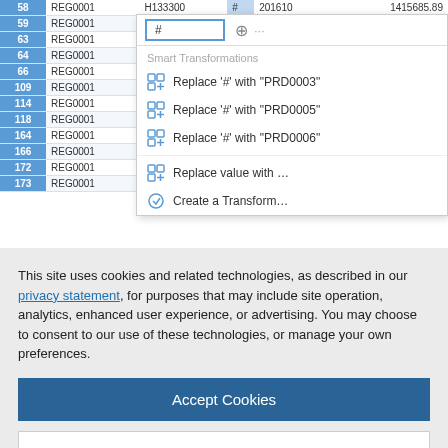[Figure (screenshot): A data table showing rows with row numbers (58,59,63,64,66,109,114,118,164,166,172,173), columns REG0001, H13xxxx codes, a column with '#' symbol (highlighted with dropdown), 201610 values, and numeric values. A dropdown popup shows 'Smart Transformations' options: Replace '#' with 'PRD0003', Replace '#' with 'PRD0005', Replace '#' with 'PRD0006', Replace value with..., Create a Transform...]
This site uses cookies and related technologies, as described in our privacy statement, for purposes that may include site operation, analytics, enhanced user experience, or advertising. You may choose to consent to our use of these technologies, or manage your own preferences.
Accept Cookies
More Information
Privacy Policy | Powered by: TrustArc